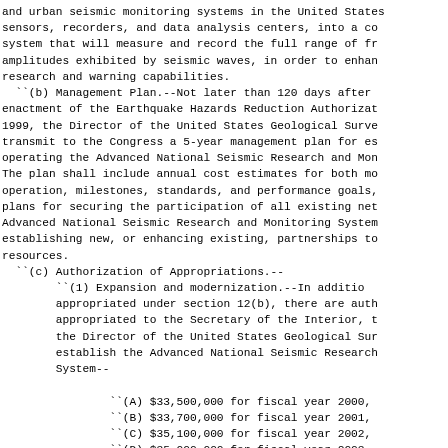and urban seismic monitoring systems in the United States, sensors, recorders, and data analysis centers, into a coo system that will measure and record the full range of fre amplitudes exhibited by seismic waves, in order to enhanc research and warning capabilities.
  `(b) Management Plan.--Not later than 120 days after t enactment of the Earthquake Hazards Reduction Authorizati 1999, the Director of the United States Geological Survey transmit to the Congress a 5-year management plan for est operating the Advanced National Seismic Research and Moni The plan shall include annual cost estimates for both mod operation, milestones, standards, and performance goals, plans for securing the participation of all existing netw Advanced National Seismic Research and Monitoring System establishing new, or enhancing existing, partnerships to resources.
  `(c) Authorization of Appropriations.--
        `(1) Expansion and modernization.--In additio appropriated under section 12(b), there are autho appropriated to the Secretary of the Interior, to the Director of the United States Geological Sur establish the Advanced National Seismic Research System--
                `(A) $33,500,000 for fiscal year 2000,
                `(B) $33,700,000 for fiscal year 2001,
                `(C) $35,100,000 for fiscal year 2002,
                `(D) $35,000,000 for fiscal year 2003,
                `(E) $33,500,000 for fiscal year 2004
        `(2) Operation.--In addition to amounts approp section 12(b), there are authorized to be approp